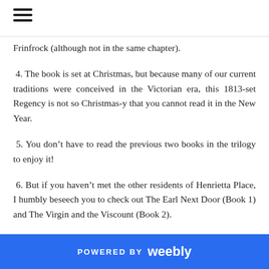Frinfrock (although not in the same chapter).
4. The book is set at Christmas, but because many of our current traditions were conceived in the Victorian era, this 1813-set Regency is not so Christmas-y that you cannot read it in the New Year.
5. You don’t have to read the previous two books in the trilogy to enjoy it!
6. But if you haven’t met the other residents of Henrietta Place, I humbly beseech you to check out The Earl Next Door (Book 1) and The Virgin and the Viscount (Book 2).
POWERED BY weebly